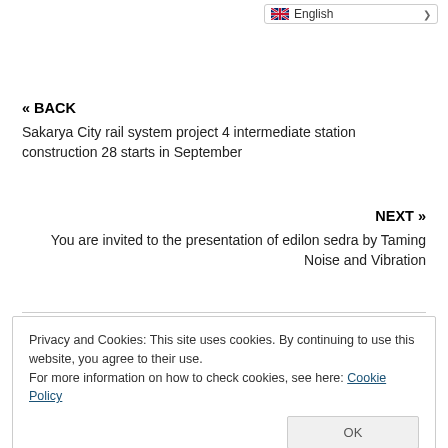English
« BACK
Sakarya City rail system project 4 intermediate station construction 28 starts in September
NEXT »
You are invited to the presentation of edilon sedra by Taming Noise and Vibration
Privacy and Cookies: This site uses cookies. By continuing to use this website, you agree to their use. For more information on how to check cookies, see here: Cookie Policy